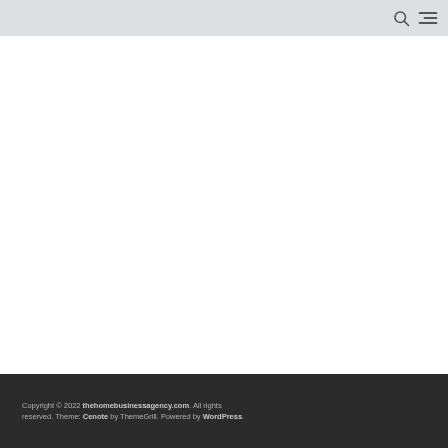[search icon] [menu icon]
Copyright © 2022 thehomebusinessagency.com. All rights reserved. Theme: Cenote by ThemeGrill. Powered by WordPress.